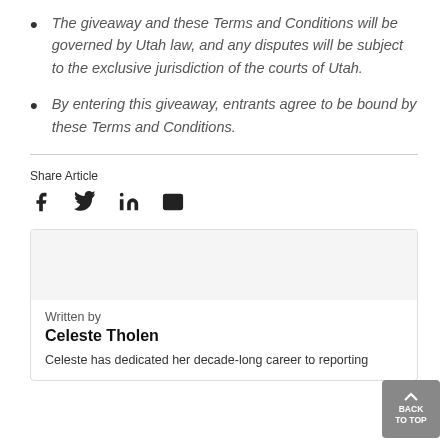The giveaway and these Terms and Conditions will be governed by Utah law, and any disputes will be subject to the exclusive jurisdiction of the courts of Utah.
By entering this giveaway, entrants agree to be bound by these Terms and Conditions.
Share Article
[Figure (infographic): Social share icons: Facebook (f), Twitter (bird), LinkedIn (in), Email (envelope)]
Written by
Celeste Tholen
Celeste has dedicated her decade-long career to reporting